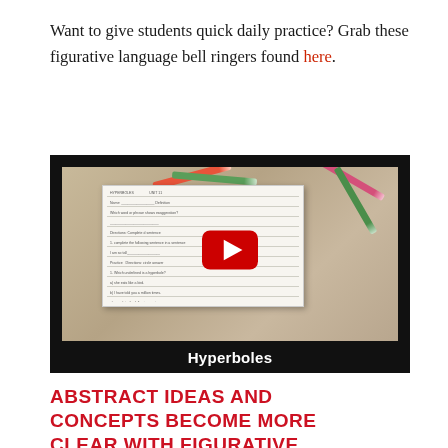Want to give students quick daily practice? Grab these figurative language bell ringers found here.
[Figure (screenshot): YouTube video thumbnail showing a notebook/worksheet on a wooden desk with colored pencils, featuring a red YouTube play button in the center and the caption 'Hyperboles' at the bottom on a black background.]
ABSTRACT IDEAS AND CONCEPTS BECOME MORE CLEAR WITH FIGURATIVE